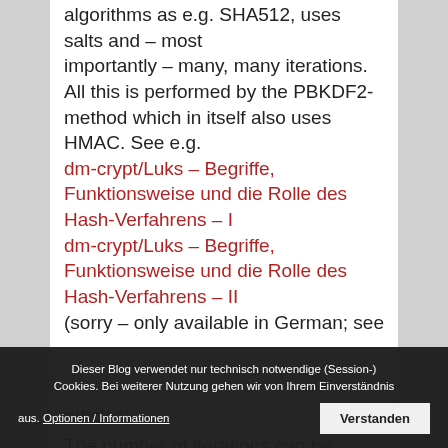algorithms as e.g. SHA512, uses salts and – most importantly – many, many iterations. All this is performed by the PBKDF2-method which in itself also uses HMAC. See e.g. dm-crypt/Luks – Begriffe, Funktionsweise und die Rolle des Hash-Verfahrens – I dm-crypt/Luks – Begriffe, Funktionsweise und die Rolle des Hash-Verfahrens – II (sorry – only available in German; see articles). The number of iterations can be determined directly or indirectly by
Dieser Blog verwendet nur technisch notwendige (Session-) Cookies. Bei weiterer Nutzung gehen wir von Ihrem Einverständnis aus. Optionen / Informationen   Verstanden